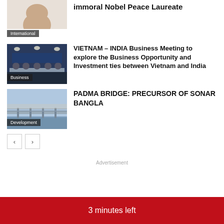[Figure (photo): Partial photo of a person (top of head visible), with 'International' category badge]
immoral Nobel Peace Laureate
[Figure (photo): Photo of a business meeting panel with people seated at a long table, with 'Business' category badge]
VIETNAM – INDIA Business Meeting to explore the Business Opportunity and Investment ties between Vietnam and India
[Figure (photo): Photo of Padma Bridge over water, with 'Development' category badge]
PADMA BRIDGE: PRECURSOR OF SONAR BANGLA
Advertisement
3 minutes left